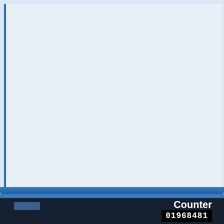[Figure (screenshot): A document viewer interface showing a mostly blank light-blue/white panel with a blue left border, a blue bar at the bottom, and a dark navy footer area.]
Counter
01968481